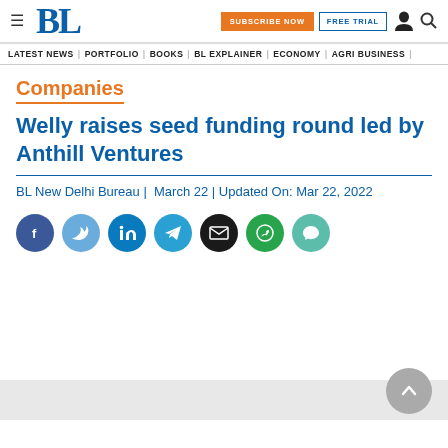BL | SUBSCRIBE NOW | FREE TRIAL
LATEST NEWS | PORTFOLIO | BOOKS | BL EXPLAINER | ECONOMY | AGRI BUSINESS |
Companies
Welly raises seed funding round led by Anthill Ventures
BL New Delhi Bureau |  March 22 | Updated On: Mar 22, 2022